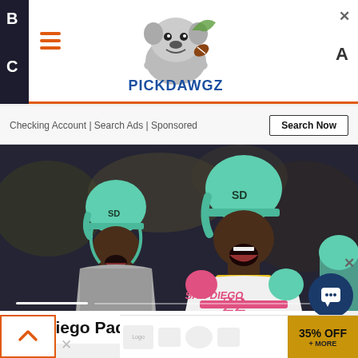[Figure (screenshot): PickDawgz website header with hamburger menu icon, bulldog logo, and navigation letters B, A, C on dark left sidebar. Orange underline below header.]
Checking Account | Search Ads | Sponsored
Search Now
[Figure (photo): Two San Diego Padres baseball players in teal/mint helmets and colorful City Connect uniforms (white, pink, mint, yellow). Player #22 is celebrating with mouth open. Another player in front also celebrating.]
San Diego Padres at Kansas City Royals -
[Figure (other): Chat bubble icon button (dark blue circle with white chat icon). Close X button. Back-to-top arrow button. Bottom advertisement strip showing 35% OFF.]